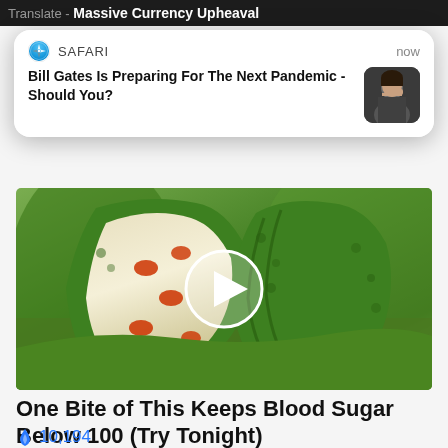Translate - Massive Currency Upheaval
[Figure (screenshot): Safari browser notification popup showing: SAFARI | now | Bill Gates Is Preparing For The Next Pandemic - Should You? with a thumbnail photo of a man]
[Figure (photo): Close-up photo of bitter melon / bitter gourd vegetable cut open showing seeds inside, with a video play button overlay]
One Bite of This Keeps Blood Sugar Below 100 (Try Tonight)
🔥 10,194
[Figure (photo): Two portrait photos side by side at the bottom: a woman with reddish-brown hair on the left, and a person with lighter hair on a blue background on the right]